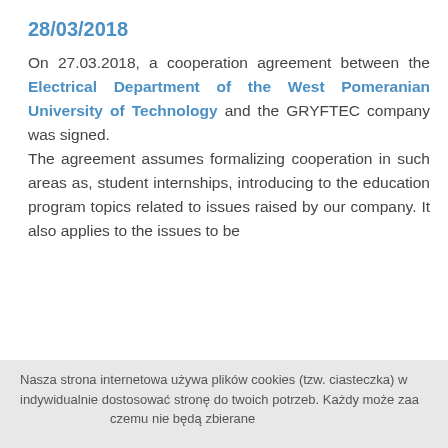28/03/2018
On 27.03.2018, a cooperation agreement between the Electrical Department of the West Pomeranian University of Technology and the GRYFTEC company was signed. The agreement assumes formalizing cooperation in such areas as, student internships, introducing to the education program topics related to issues raised by our company. It also applies to the issues to be
Nasza strona internetowa używa plików cookies (tzw. ciasteczka) w indywidualnie dostosować stronę do twoich potrzeb. Każdy może zaa... czemu nie będą zbierane